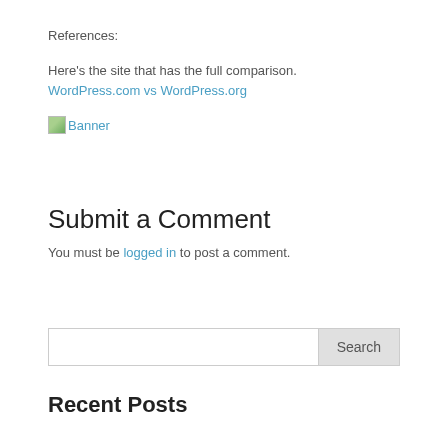References:
Here’s the site that has the full comparison.
WordPress.com vs WordPress.org
[Figure (other): Broken image icon with alt text 'Banner' and a link]
Submit a Comment
You must be logged in to post a comment.
Search
Recent Posts